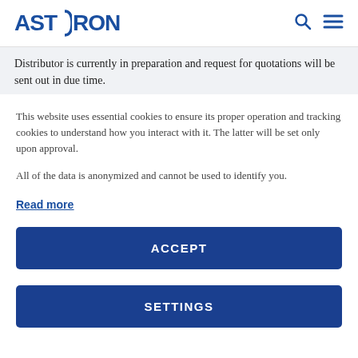ASTRON
Distributor is currently in preparation and request for quotations will be sent out in due time.
This website uses essential cookies to ensure its proper operation and tracking cookies to understand how you interact with it. The latter will be set only upon approval.
All of the data is anonymized and cannot be used to identify you.
Read more
ACCEPT
SETTINGS